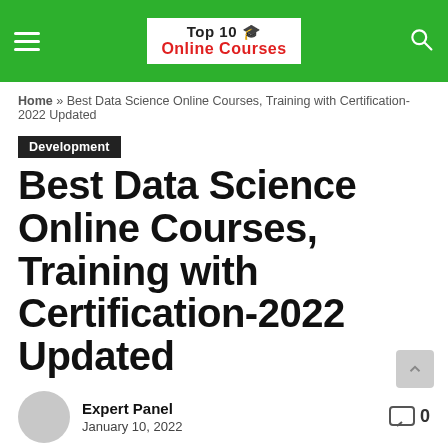Top 10 Online Courses
Home » Best Data Science Online Courses, Training with Certification-2022 Updated
Development
Best Data Science Online Courses, Training with Certification-2022 Updated
Expert Panel
January 10, 2022
0